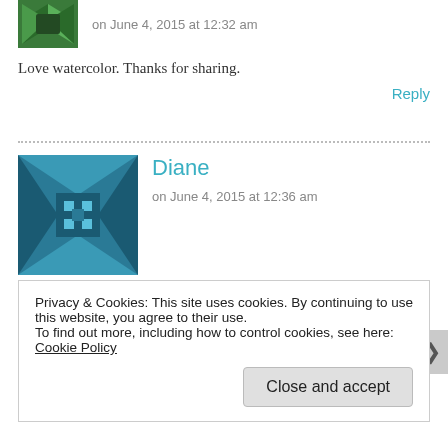[Figure (illustration): Green geometric avatar icon (top, partially cropped)]
on June 4, 2015 at 12:32 am
Love watercolor. Thanks for sharing.
Reply
[Figure (illustration): Teal/blue geometric quilt-pattern avatar icon for Diane]
Diane
on June 4, 2015 at 12:36 am
Your floral card is watercolor PERFECTION!!!
Reply
Privacy & Cookies: This site uses cookies. By continuing to use this website, you agree to their use.
To find out more, including how to control cookies, see here: Cookie Policy
Close and accept